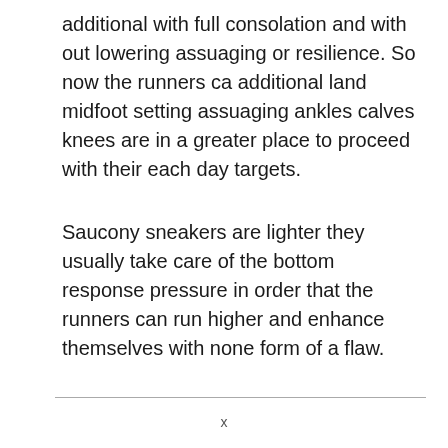additional with full consolation and with out lowering assuaging or resilience. So now the runners ca additional land midfoot setting assuaging ankles calves knees are in a greater place to proceed with their each day targets.
Saucony sneakers are lighter they usually take care of the bottom response pressure in order that the runners can run higher and enhance themselves with none form of a flaw.
x